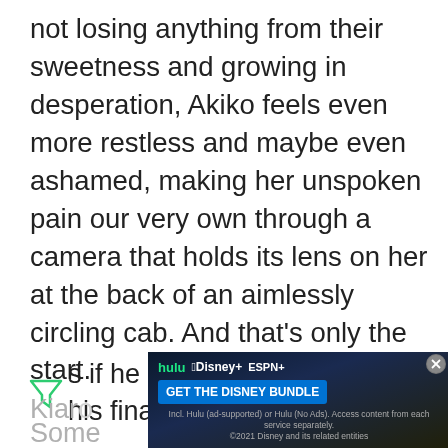not losing anything from their sweetness and growing in desperation, Akiko feels even more restless and maybe even ashamed, making her unspoken pain our very own through a camera that holds its lens on her at the back of an aimlessly circling cab. And that's only the start.
As if he knew this would be his final film,
Kiar
Some
[Figure (screenshot): Advertisement banner for Disney Bundle (Hulu, Disney+, ESPN+) with 'GET THE DISNEY BUNDLE' button and fine print about ad-supported services. Has a close (X) button.]